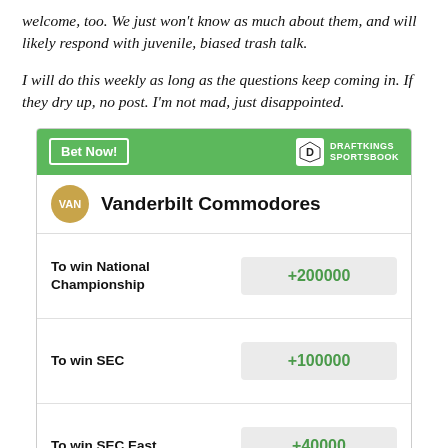welcome, too. We just won't know as much about them, and will likely respond with juvenile, biased trash talk.
I will do this weekly as long as the questions keep coming in. If they dry up, no post. I'm not mad, just disappointed.
| Bet | Odds |
| --- | --- |
| To win National Championship | +200000 |
| To win SEC | +100000 |
| To win SEC East | +40000 |